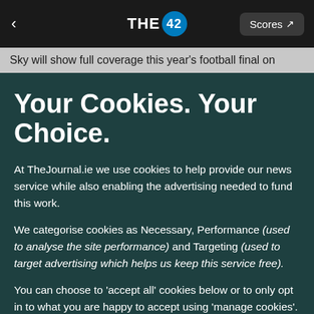THE 42 | Scores
Sky will show full coverage this year's football final on
Your Cookies. Your Choice.
At TheJournal.ie we use cookies to help provide our news service while also enabling the advertising needed to fund this work.
We categorise cookies as Necessary, Performance (used to analyse the site performance) and Targeting (used to target advertising which helps us keep this service free).
You can choose to 'accept all' cookies below or to only opt in to what you are happy to accept using 'manage cookies'. You can also change your cookie settings at any time and learn more about how we use cookies in our Privacy Policy